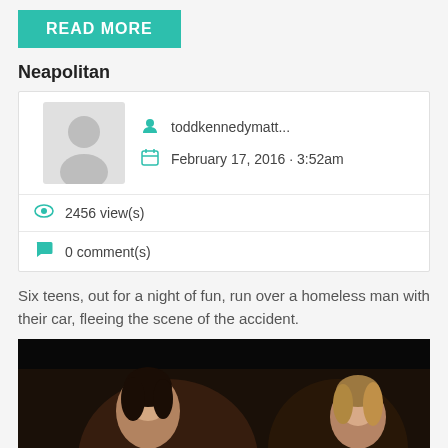READ MORE
Neapolitan
toddkennedymatt...
February 17, 2016 - 3:52am
2456 view(s)
0 comment(s)
Six teens, out for a night of fun, run over a homeless man with their car, fleeing the scene of the accident.
[Figure (photo): Two women in a dark scene — one dark-haired facing right, one blonde facing left, in a dimly lit cinematic setting]